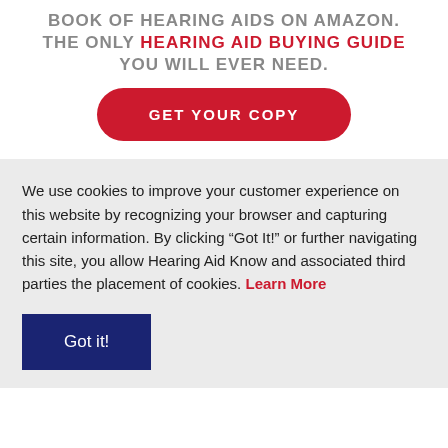BOOK OF HEARING AIDS ON AMAZON. THE ONLY HEARING AID BUYING GUIDE YOU WILL EVER NEED.
GET YOUR COPY
We use cookies to improve your customer experience on this website by recognizing your browser and capturing certain information. By clicking “Got It!” or further navigating this site, you allow Hearing Aid Know and associated third parties the placement of cookies. Learn More
Got it!